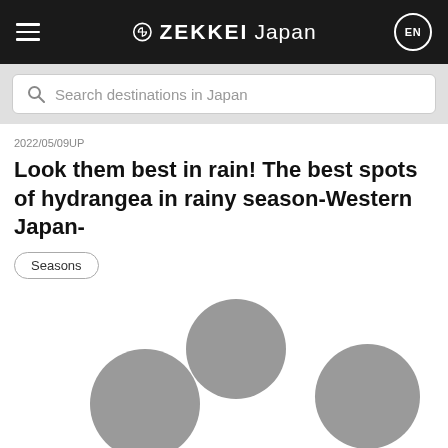ZEKKEI Japan
Search destinations in Japan
2022/05/09UP
Look them best in rain! The best spots of hydrangea in rainy season-Western Japan-
Seasons
[Figure (photo): Five gray circles representing placeholder/lazy-loaded thumbnail images of hydrangea spots]